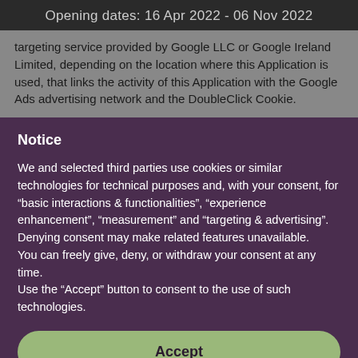Opening dates: 16 Apr 2022 - 06 Nov 2022
targeting service provided by Google LLC or Google Ireland Limited, depending on the location where this Application is used, that links the activity of this Application with the Google Ads advertising network and the DoubleClick Cookie.
Notice
We and selected third parties use cookies or similar technologies for technical purposes and, with your consent, for “basic interactions & functionalities”, “experience enhancement”, “measurement” and “targeting & advertising”. Denying consent may make related features unavailable.
You can freely give, deny, or withdraw your consent at any time.
Use the “Accept” button to consent to the use of such technologies.
Accept
Learn more and customise